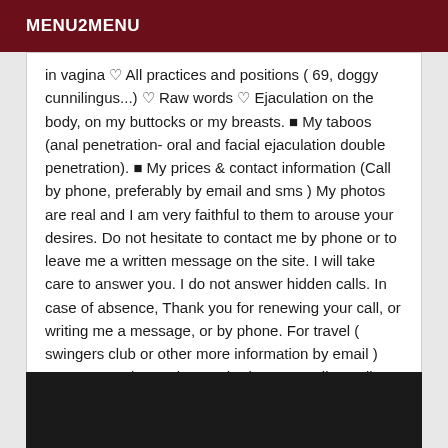MENU2MENU
in vagina ♡ All practices and positions ( 69, doggy cunnilingus...) ♡ Raw words ♡ Ejaculation on the body, on my buttocks or my breasts. ■ My taboos (anal penetration- oral and facial ejaculation double penetration). ■ My prices & contact information (Call by phone, preferably by email and sms ) My photos are real and I am very faithful to them to arouse your desires. Do not hesitate to contact me by phone or to leave me a written message on the site. I will take care to answer you. I do not answer hidden calls. In case of absence, Thank you for renewing your call, or writing me a message, or by phone. For travel ( swingers club or other more information by email ) PS: I can no longer be reached on my mail or call box. Tenderly lower my darlings
[Figure (other): VIP section with dark background image, partially visible]